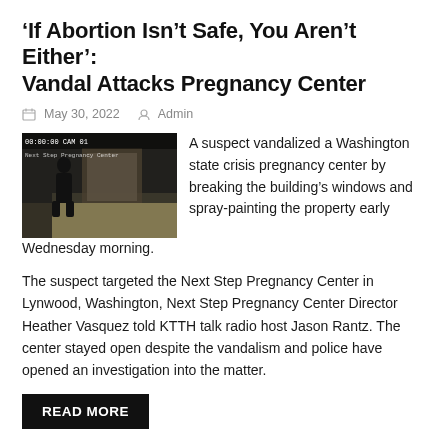'If Abortion Isn't Safe, You Aren't Either': Vandal Attacks Pregnancy Center
May 30, 2022   Admin
[Figure (photo): Security camera footage showing a dark figure near building entrance at night]
A suspect vandalized a Washington state crisis pregnancy center by breaking the building's windows and spray-painting the property early Wednesday morning.
The suspect targeted the Next Step Pregnancy Center in Lynwood, Washington, Next Step Pregnancy Center Director Heather Vasquez told KTTH talk radio host Jason Rantz. The center stayed open despite the vandalism and police have opened an investigation into the matter.
READ MORE
National, News  abortion, Heather Vasquez, Jason Rantz, Next Step Pregnancy Center, Oregon Right to Life center, Sacred Heart of Mary Church,